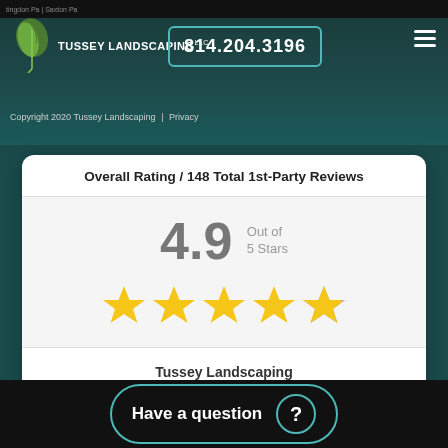TUSSEY LANDSCAPING LLC | 814.204.3196 | tingdon Pa | Saxton Pa
Copyright 2020 Tussey Landscaping | Privacy
Overall Rating / 148 Total 1st-Party Reviews
4.9 Out of 5 Stars
[Figure (infographic): 4.9 out of 5 stars rating display with 4 full golden stars and 1 partial (approximately 0.9) grey/gold star]
Tussey Landscaping
View Reviews
Have a question